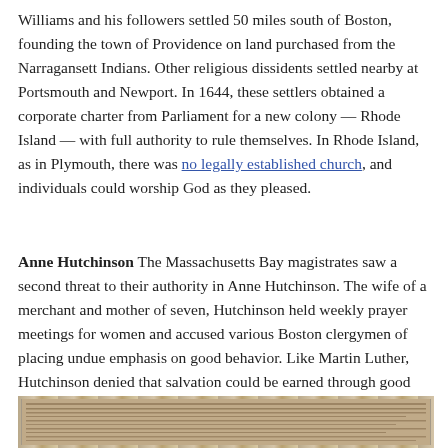Williams and his followers settled 50 miles south of Boston, founding the town of Providence on land purchased from the Narragansett Indians. Other religious dissidents settled nearby at Portsmouth and Newport. In 1644, these settlers obtained a corporate charter from Parliament for a new colony — Rhode Island — with full authority to rule themselves. In Rhode Island, as in Plymouth, there was no legally established church, and individuals could worship God as they pleased.
Anne Hutchinson The Massachusetts Bay magistrates saw a second threat to their authority in Anne Hutchinson. The wife of a merchant and mother of seven, Hutchinson held weekly prayer meetings for women and accused various Boston clergymen of placing undue emphasis on good behavior. Like Martin Luther, Hutchinson denied that salvation could be earned through good deeds. There was no “covenant of works” that would save the well-behaved; only a “covenant of grace” through which God saved those he predestined for salvation. Hutchinson likewise declared that God “revealed” divine truth directly to individual believers, a controversial doctrine that the Puritan magistrates
[Figure (photo): Bottom portion of a historical document or manuscript page, partially visible]